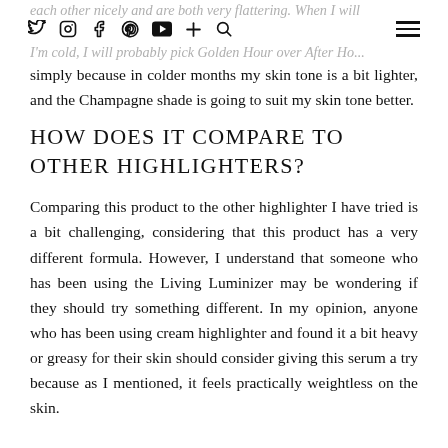each other nicely and are both very flattering. When I will probably pick Golden Hour over After Ho...
simply because in colder months my skin tone is a bit lighter, and the Champagne shade is going to suit my skin tone better.
HOW DOES IT COMPARE TO OTHER HIGHLIGHTERS?
Comparing this product to the other highlighter I have tried is a bit challenging, considering that this product has a very different formula. However, I understand that someone who has been using the Living Luminizer may be wondering if they should try something different. In my opinion, anyone who has been using cream highlighter and found it a bit heavy or greasy for their skin should consider giving this serum a try because as I mentioned, it feels practically weightless on the skin.
...bottom text continuing...